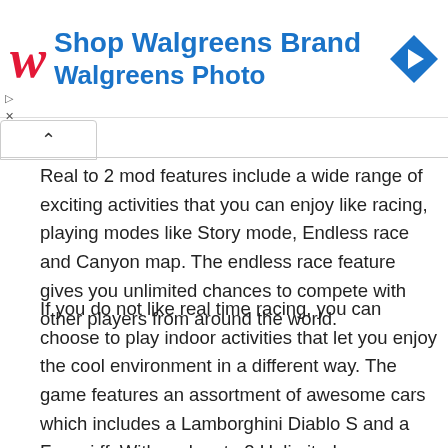[Figure (other): Walgreens advertisement banner with red italic W logo, blue text reading 'Shop Walgreens Brand' and 'Walgreens Photo', and a blue diamond navigation icon on the right.]
Real to 2 mod features include a wide range of exciting activities that you can enjoy like racing, playing modes like Story mode, Endless race and Canyon map. The endless race feature gives you unlimited chances to compete with other players from around the world.
If you do not like real time racing, you can choose to play indoor activities that let you enjoy the cool environment in a different way. The game features an assortment of awesome cars which includes a Lamborghini Diablo S and a Ferrari ff. With real moto 2 Unlimited, you can really drive to the top in the newest version of this car racing game.